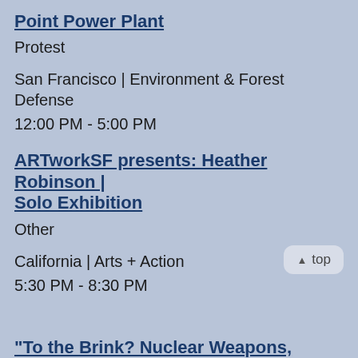Point Power Plant
Protest
San Francisco | Environment & Forest Defense
12:00 PM - 5:00 PM
ARTworkSF presents: Heather Robinson | Solo Exhibition
Other
California | Arts + Action
5:30 PM - 8:30 PM
"To the Brink? Nuclear Weapons, Religious Extremism, and US Foreign Policy in So